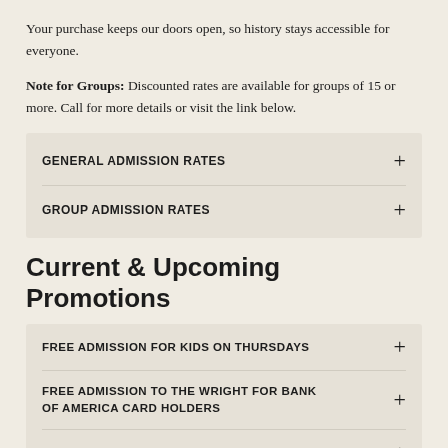Your purchase keeps our doors open, so history stays accessible for everyone.
Note for Groups: Discounted rates are available for groups of 15 or more. Call for more details or visit the link below.
GENERAL ADMISSION RATES +
GROUP ADMISSION RATES +
Current & Upcoming Promotions
FREE ADMISSION FOR KIDS ON THURSDAYS +
FREE ADMISSION TO THE WRIGHT FOR BANK OF AMERICA CARD HOLDERS +
FREE ADMISSION FOR RECIPROCAL MUSEUM +